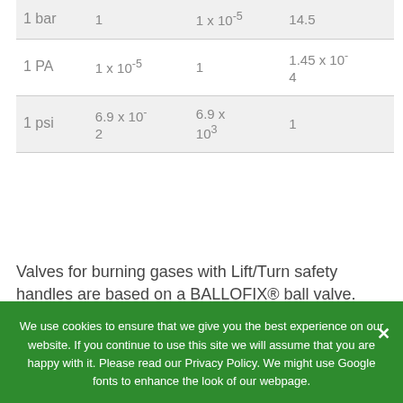|  | bar | PA | psi |
| --- | --- | --- | --- |
| 1 bar | 1 | 1 x 10⁻⁵ | 14.5 |
| 1 PA | 1 x 10⁻⁵ | 1 | 1.45 x 10⁻⁴ |
| 1 psi | 6.9 x 10⁻² | 6.9 x 10³ | 1 |
Valves for burning gases with Lift/Turn safety handles are based on a BALLOFIX® ball valve. Opening/closing function 90°
We use cookies to ensure that we give you the best experience on our website. If you continue to use this site we will assume that you are happy with it. Please read our Privacy Policy. We might use Google fonts to enhance the look of our webpage.